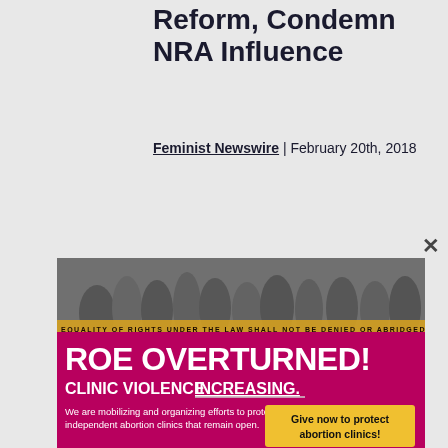Reform, Condemn NRA Influence
Feminist Newswire | February 20th, 2018
[Figure (infographic): Popup advertisement overlay on a news article page. Top portion shows a black and white photo of a protest march with a banner reading 'EQUALITY OF RIGHTS UNDER THE LAW SHALL NOT BE DENIED OR ABRIDGED'. Below is a magenta/hot-pink background with large white bold text 'ROE OVERTURNED!' and below that 'CLINIC VIOLENCE INCREASING.' with a yellow call-to-action button reading 'Give now to protect abortion clinics!' and body text: 'We are mobilizing and organizing efforts to protect independent abortion clinics that remain open.' At the bottom is a dark purple strip with yellow text repeating 'EQUALITY OF RIGHTS UNDER... BY THE UNITED STATES, OR BY ANY STATE ON ACCOUNT OF SEX'.]
week's mass shooting at Marjory Stoneman Douglas High School in Parkland, Florida, during which 17 teachers and students were killed by a